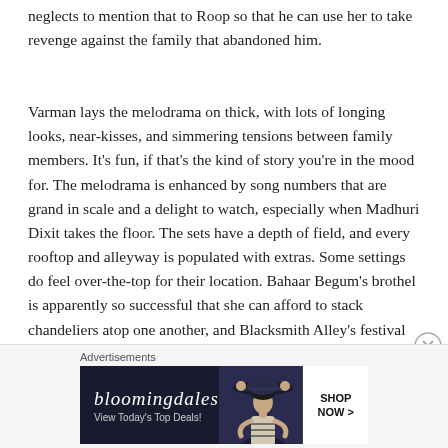neglects to mention that to Roop so that he can use her to take revenge against the family that abandoned him.
Varman lays the melodrama on thick, with lots of longing looks, near-kisses, and simmering tensions between family members. It’s fun, if that’s the kind of story you’re in the mood for. The melodrama is enhanced by song numbers that are grand in scale and a delight to watch, especially when Madhuri Dixit takes the floor. The sets have a depth of field, and every rooftop and alleyway is populated with extras. Some settings do feel over-the-top for their location. Bahaar Begum’s brothel is apparently so successful that she can afford to stack chandeliers atop one another, and Blacksmith Alley’s festival budget tops the production costs of most Bollywood films.
Advertisements
[Figure (other): Bloomingdale's advertisement banner with text 'bloomingdales', 'View Today's Top Deals!', image of woman in wide-brim hat, and 'SHOP NOW >' button]